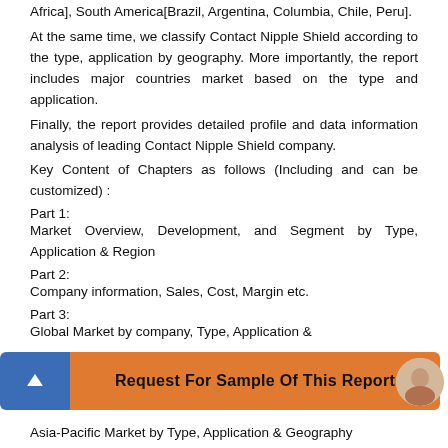Africa], South America[Brazil, Argentina, Columbia, Chile, Peru].
At the same time, we classify Contact Nipple Shield according to the type, application by geography. More importantly, the report includes major countries market based on the type and application.
Finally, the report provides detailed profile and data information analysis of leading Contact Nipple Shield company.
Key Content of Chapters as follows (Including and can be customized) :
Part 1:
Market Overview, Development, and Segment by Type, Application & Region
Part 2:
Company information, Sales, Cost, Margin etc.
Part 3:
Global Market by company, Type, Application &
[Figure (infographic): Orange button with text 'Request For Sample Of This Report' and blue arrow-up icon, with avatar image on right]
Asia-Pacific Market by Type, Application & Geography